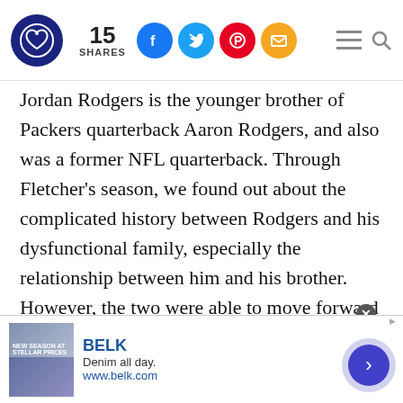15 SHARES — social sharing bar with Facebook, Twitter, Pinterest, Email icons, hamburger menu, search
Jordan Rodgers is the younger brother of Packers quarterback Aaron Rodgers, and also was a former NFL quarterback. Through Fletcher's season, we found out about the complicated history between Rodgers and his dysfunctional family, especially the relationship between him and his brother. However, the two were able to move forward and Rodgers proved he was there for all the right reasons.
[Figure (screenshot): Advertisement banner for BELK — Denim all day. www.belk.com — with close button and navigation arrow]